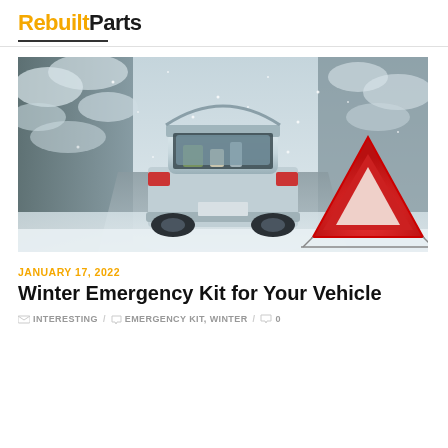RebuiltParts
[Figure (photo): A white car with trunk open on a snowy road in a winter forest, with a red warning triangle placed behind it. Snow is falling.]
JANUARY 17, 2022
Winter Emergency Kit for Your Vehicle
INTERESTING / EMERGENCY KIT, WINTER / 0